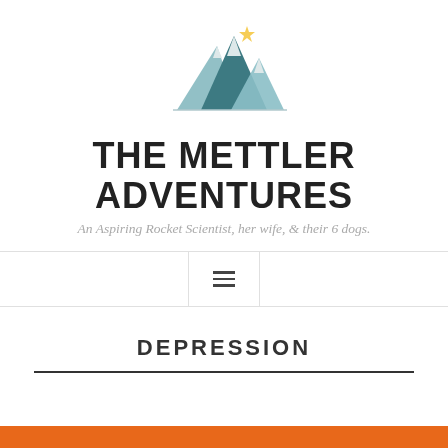[Figure (logo): Mountain range illustration with three peaks in teal/blue-grey tones with snow caps and a small yellow star accent]
THE METTLER ADVENTURES
An Aspiring Rocket Scientist, her wife, & their 6 dogs.
DEPRESSION
[Figure (other): Orange/burnt orange horizontal bar at the bottom of the page]